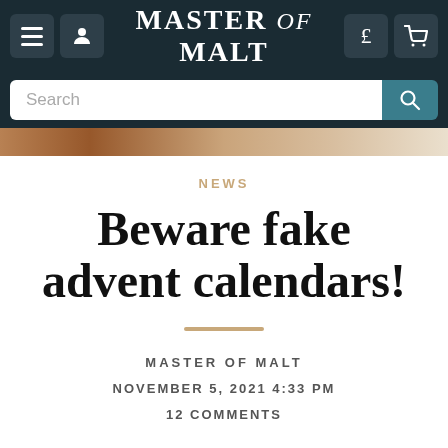MASTER of MALT
NEWS
Beware fake advent calendars!
MASTER OF MALT
NOVEMBER 5, 2021 4:33 PM
12 COMMENTS